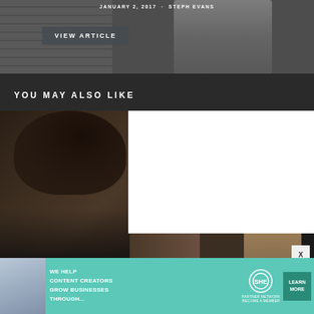[Figure (photo): Black and white photo of a man in a jacket against a brick wall background, partially visible at top]
JANUARY 2, 2017 · STEPH EVANS
VIEW ARTICLE
YOU MAY ALSO LIKE
[Figure (photo): Portrait photo of a person with long curly/dreadlocked hair, dark background, partially obscured by white overlay box]
[Figure (screenshot): White overlay box covering part of the lower photo]
X
[Figure (infographic): Teal advertisement banner: WE HELP CONTENT CREATORS GROW BUSINESSES THROUGH... with SHE Partner Network logo and LEARN MORE button]